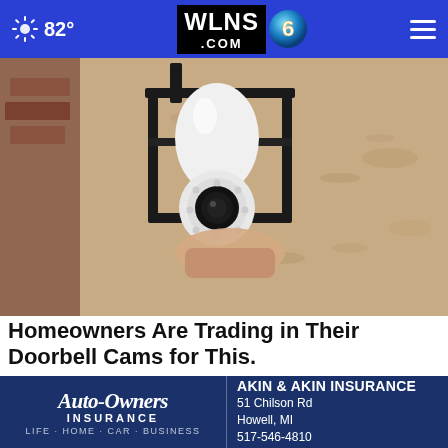82° WLNS6.COM [navigation bar with weather and hamburger menu]
[Figure (photo): A hand installing or adjusting a light bulb security camera into an outdoor wall lantern fixture mounted on a stucco wall]
Homeowners Are Trading in Their Doorbell Cams for This.
Sursell
[Figure (logo): Auto-Owners Insurance advertisement banner with company name, tagline LIFE HOME CAR BUSINESS, and Akin & Akin Insurance local agent info: 51 Chilson Rd, Howell, MI, 517-546-4810]